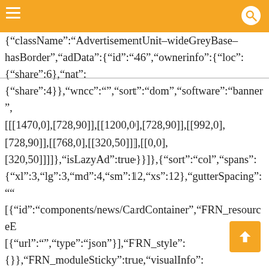{"className":"AdvertisementUnit–wideGreyBase–hasBorder","adData":{"id":"46","ownerinfo":{"loc":{"share":6},"nat":{"share":4}},"wncc":"","sort":"dom","software":"banner",[[[1470,0],[728,90]],[[1200,0],[728,90]],[[992,0],[728,90]],[[768,0],[[320,50]]],[[0,0],[320,50]]]},"isLazyAd":true}}]},{"sort":"col","spans":{"xl":3,"lg":3,"md":4,"sm":12,"xs":12},"gutterSpacing":"",[{"id":"components/news/CardContainer","FRN_resourceE[{"url":"","type":"json"}],"FRN_style":{}},"FRN_moduleSticky":true,"visualInfo":{"affiliate":"wnow"},"props":{"title":"","titleColor":"","titleType":"Module Title","gutterSpacing":"xxs","backgroundColor":"","overfl cards":[{"id":"components/AdvertisementUnit","FRN_style":{}},"FRN_loadOrderIndex":1,"FRN_className":["ad-